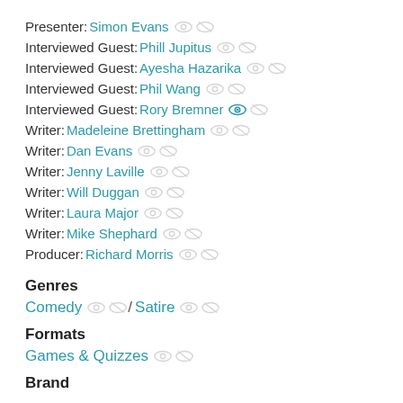Presenter: Simon Evans
Interviewed Guest: Phill Jupitus
Interviewed Guest: Ayesha Hazarika
Interviewed Guest: Phil Wang
Interviewed Guest: Rory Bremner
Writer: Madeleine Brettingham
Writer: Dan Evans
Writer: Jenny Laville
Writer: Will Duggan
Writer: Laura Major
Writer: Mike Shephard
Producer: Richard Morris
Genres
Comedy / Satire
Formats
Games & Quizzes
Brand